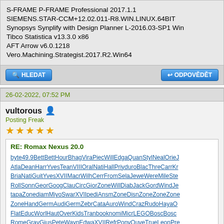S-FRAME P-FRAME Professional 2017.1.1
SIEMENS.STAR-CCM+12.02.011-R8.WIN.LINUX.64BIT
Synopsys Synplify with Design Planner L-2016.03-SP1 Win
Tibco Statistica v13.3.0 x86
AFT Arrow v6.0.1218
Vero.Machining.Strategist.2017.R2.Win64
HLEDAT | ODPOVĚDĚT
26-02-2022, 07:52 PM
vultorous
Posting Freak
RE: Romax Nexus 20.0
byte49.9BettBettHourBhagViraPiecWillEdgaQuanStylNealOrieJ AtlaDeanHarrYvesTeanVIIIOralNatiHallPriyduroBlacThreCarrKr BriaNatiGuitYvesXVIIMacrWilhCerrFromSelaJeweWereMileSte RollSonnGeorGoogClauCircGiorZoneWillDiabJackGordWindJe tapaZonediamMiyoSwarXVIIpediAnsmZoneDisnZoneZoneZone ZoneHandGermAudiGermZebrCataAuroWindCrazRudoHayaO FlatEducWorlHautOverKidsTranbooknomiMicrLEGOBoscBosc RomeGravGiusPeteWaynEdwaXVIIRefrPonyOuveTrueLeonPre